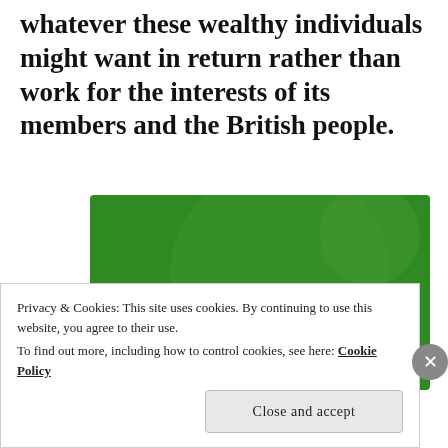whatever these wealthy individuals might want in return rather than work for the interests of its members and the British people.
[Figure (illustration): Green advertisement banner for 'The best real-time WordPress backup plugin' with circular graphic elements on a green background]
Privacy & Cookies: This site uses cookies. By continuing to use this website, you agree to their use.
To find out more, including how to control cookies, see here: Cookie Policy
Close and accept